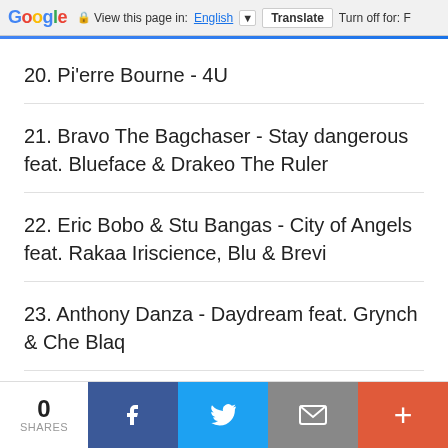Google — View this page in: English ▼ | Translate | Turn off for: F
20. Pi'erre Bourne - 4U
21. Bravo The Bagchaser - Stay dangerous feat. Blueface & Drakeo The Ruler
22. Eric Bobo & Stu Bangas - City of Angels feat. Rakaa Iriscience, Blu & Brevi
23. Anthony Danza - Daydream feat. Grynch & Che Blaq
24. Rich Homie Quan - Daily bread
25. Gunna - Came out feat. Lil Keed
0 SHARES | Facebook | Twitter | Email | +